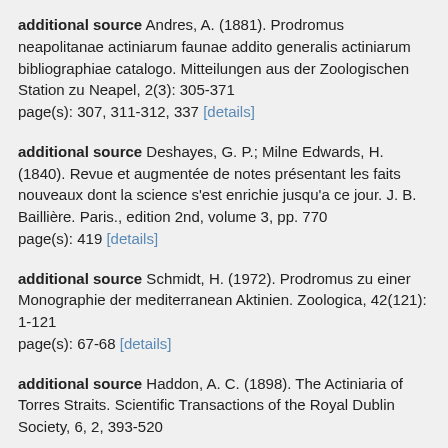additional source Andres, A. (1881). Prodromus neapolitanae actiniarum faunae addito generalis actiniarum bibliographiae catalogo. Mitteilungen aus der Zoologischen Station zu Neapel, 2(3): 305-371
page(s): 307, 311-312, 337 [details]
additional source Deshayes, G. P.; Milne Edwards, H. (1840). Revue et augmentée de notes présentant les faits nouveaux dont la science s'est enrichie jusqu'a ce jour. J. B. Baillière. Paris., edition 2nd, volume 3, pp. 770
page(s): 419 [details]
additional source Schmidt, H. (1972). Prodromus zu einer Monographie der mediterranean Aktinien. Zoologica, 42(121): 1-121
page(s): 67-68 [details]
additional source Haddon, A. C. (1898). The Actiniaria of Torres Straits. Scientific Transactions of the Royal Dublin Society, 6, 2, 393-520